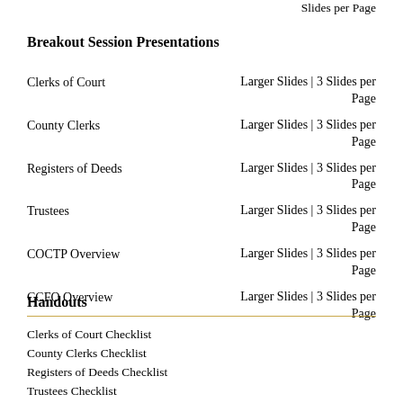Slides per Page
Breakout Session Presentations
Clerks of Court — Larger Slides | 3 Slides per Page
County Clerks — Larger Slides | 3 Slides per Page
Registers of Deeds — Larger Slides | 3 Slides per Page
Trustees — Larger Slides | 3 Slides per Page
COCTP Overview — Larger Slides | 3 Slides per Page
CCFO Overview — Larger Slides | 3 Slides per Page
Handouts
Clerks of Court Checklist
County Clerks Checklist
Registers of Deeds Checklist
Trustees Checklist